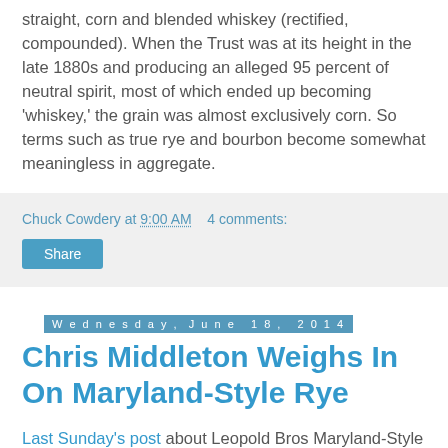straight, corn and blended whiskey (rectified, compounded). When the Trust was at its height in the late 1880s and producing an alleged 95 percent of neutral spirit, most of which ended up becoming 'whiskey,' the grain was almost exclusively corn. So terms such as true rye and bourbon become somewhat meaningless in aggregate.
Chuck Cowdery at 9:00 AM   4 comments:
Share
Wednesday, June 18, 2014
Chris Middleton Weighs In On Maryland-Style Rye
Last Sunday's post about Leopold Bros Maryland-Style Rye Whiskey drew a big response from a small number of readers whose lengthy comments appear below the post.